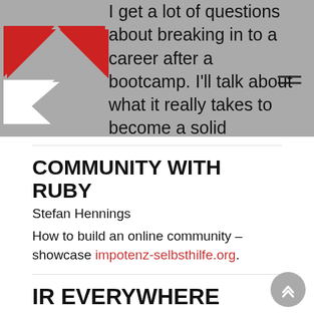I get a lot of questions about breaking in to a career after a bootcamp. I'll talk about what it really takes to become a solid programmer after a bootcamp and describing an ideal candidate in hiring a bootcamper.
COMMUNITY WITH RUBY
Stefan Hennings
How to build an online community – showcase impotenz-selbsthilfe.org.
IR EVERYWHERE
NICK HOWARD